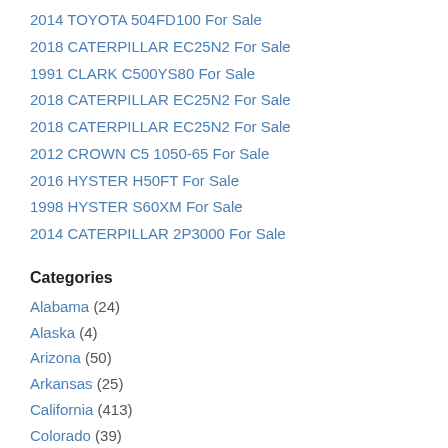2014 TOYOTA 504FD100 For Sale
2018 CATERPILLAR EC25N2 For Sale
1991 CLARK C500YS80 For Sale
2018 CATERPILLAR EC25N2 For Sale
2018 CATERPILLAR EC25N2 For Sale
2012 CROWN C5 1050-65 For Sale
2016 HYSTER H50FT For Sale
1998 HYSTER S60XM For Sale
2014 CATERPILLAR 2P3000 For Sale
Categories
Alabama (24)
Alaska (4)
Arizona (50)
Arkansas (25)
California (413)
Colorado (39)
Connecticut (34)
Delaware (5)
Florida (165)
Georgia (96)